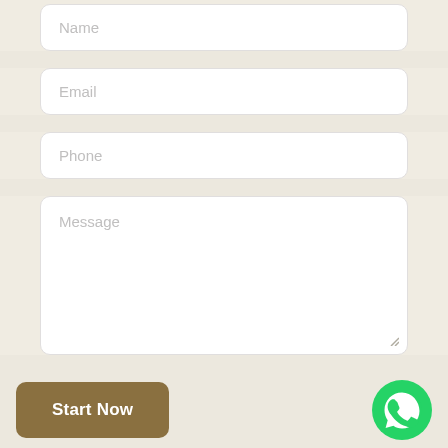[Figure (screenshot): Contact form with Name, Email, Phone, Message fields and Start Now button with WhatsApp icon]
Name
Email
Phone
Message
Start Now